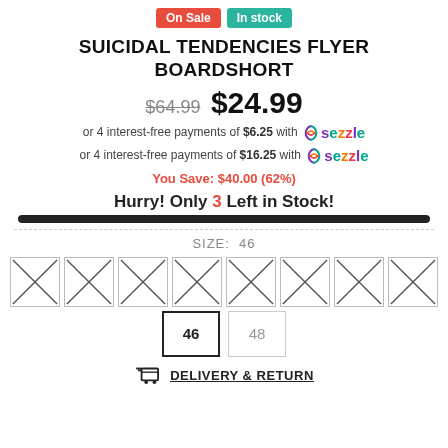On Sale  In stock
SUICIDAL TENDENCIES FLYER BOARDSHORT
$64.99  $24.99
or 4 interest-free payments of $6.25 with Sezzle
or 4 interest-free payments of $16.25 with Sezzle
You Save: $40.00 (62%)
Hurry! Only 3 Left in Stock!
SIZE: 46
46  48
DELIVERY & RETURN